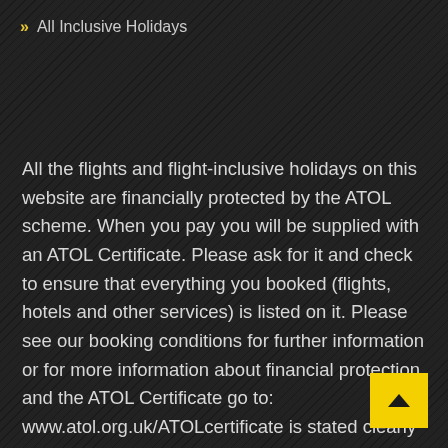» All Inclusive Holidays
All the flights and flight-inclusive holidays on this website are financially protected by the ATOL scheme. When you pay you will be supplied with an ATOL Certificate. Please ask for it and check to ensure that everything you booked (flights, hotels and other services) is listed on it. Please see our booking conditions for further information or for more information about financial protection and the ATOL Certificate go to: www.atol.org.uk/ATOLcertificate is stated clearly on all publicity material (including websites and brochures).